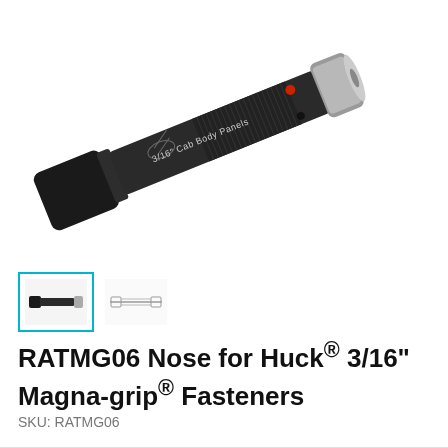[Figure (photo): Close-up product photo of a dark gunmetal cylindrical tool nose piece (RATMG06) with knurled grip, engraved text '3/16" Cab Body Panels', a silver/chrome tip end, and a small red dot indicator. The tool is photographed at a diagonal angle on a white background.]
[Figure (photo): Small thumbnail image of the same cylindrical tool nose piece shown straight-on, with a cyan/teal border indicating it is selected.]
[Figure (photo): Small thumbnail image showing an alternate view or diagram of the tool nose piece, unselected.]
RATMG06 Nose for Huck® 3/16" Magna-grip® Fasteners
SKU: RATMG06